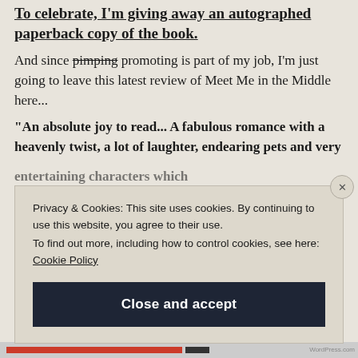To celebrate, I'm giving away an autographed paperback copy of the book.
And since pimping promoting is part of my job, I'm just going to leave this latest review of Meet Me in the Middle here...
"An absolute joy to read... A fabulous romance with a heavenly twist, a lot of laughter, endearing pets and very
Privacy & Cookies: This site uses cookies. By continuing to use this website, you agree to their use. To find out more, including how to control cookies, see here: Cookie Policy
Close and accept